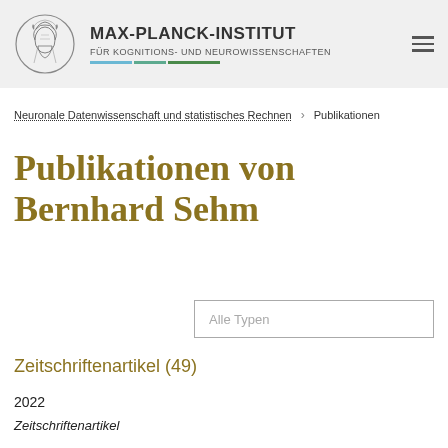MAX-PLANCK-INSTITUT FÜR KOGNITIONS- UND NEUROWISSENSCHAFTEN
Neuronale Datenwissenschaft und statistisches Rechnen  >  Publikationen
Publikationen von Bernhard Sehm
Alle Typen
Zeitschriftenartikel (49)
2022
Zeitschriftenartikel